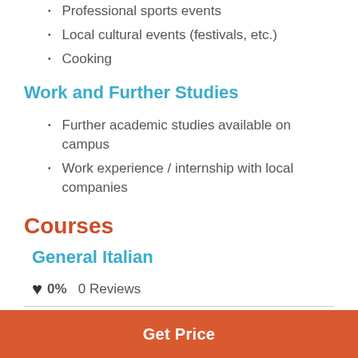Professional sports events
Local cultural events (festivals, etc.)
Cooking
Work and Further Studies
Further academic studies available on campus
Work experience / internship with local companies
Courses
General Italian
0%  0 Reviews
Get Price